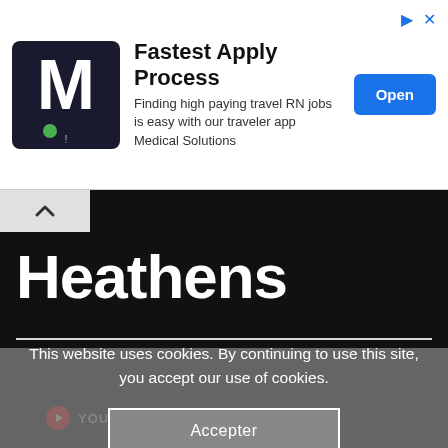[Figure (screenshot): Advertisement banner for Medical Solutions travel RN jobs app. Features M logo, headline 'Fastest Apply Process', subtext about high paying travel RN jobs, and an 'Open' button.]
Heathens
YOUTUBE · FUELED BY RAMEN
This website uses cookies. By continuing to use this site, you accept our use of cookies.
Accepter